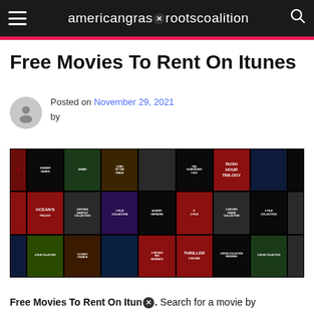americangrasrootscoalition
Free Movies To Rent On Itunes
Posted on November 29, 2021 by
[Figure (screenshot): Grid of movie collection covers including Hunger Games, Shrek, Lord of the Rings, Ocean's, Audrey Hepburn, Taken, Big Momma's, Kingsman, Thriller and other film collections on a dark background]
Free Movies To Rent On Itunes. Search for a movie by